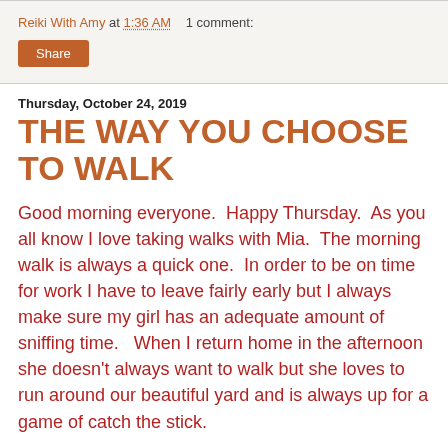Reiki With Amy at 1:36 AM   1 comment:
Share
Thursday, October 24, 2019
THE WAY YOU CHOOSE TO WALK
Good morning everyone.  Happy Thursday.  As you all know I love taking walks with Mia.  The morning walk is always a quick one.  In order to be on time for work I have to leave fairly early but I always make sure my girl has an adequate amount of sniffing time.   When I return home in the afternoon she doesn't always want to walk but she loves to run around our beautiful yard and is always up for a game of catch the stick.
Mia is not one to be ignored. If I try she will bite my shoes. She doesn't need words to tell me what she wants. Those soulful eyes of hers say it all.  So that my shoes remain